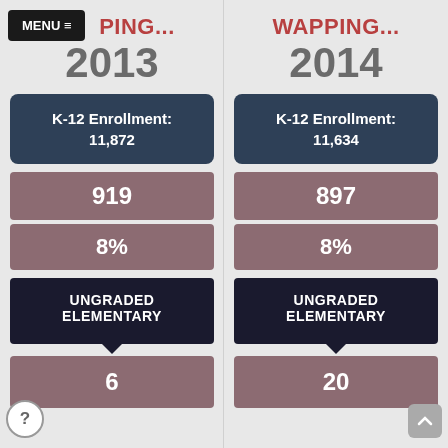MENU ≡
PING...
2013
K-12 Enrollment: 11,872
919
8%
UNGRADED ELEMENTARY
6
WAPPING...
2014
K-12 Enrollment: 11,634
897
8%
UNGRADED ELEMENTARY
20